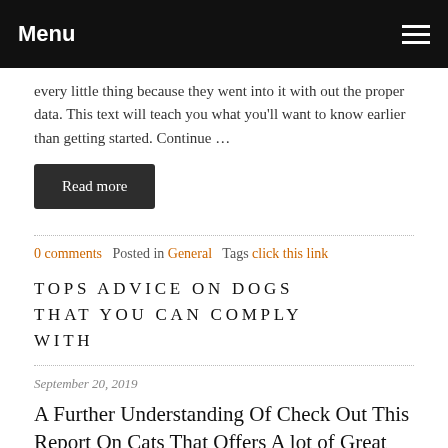Menu
every little thing because they went into it with out the proper data. This text will teach you what you'll want to know earlier than getting started. Continue …
Read more
0 comments   Posted in General   Tags click this link
TOPS ADVICE ON DOGS THAT YOU CAN COMPLY WITH
September 20, 2019
A Further Understanding Of Check Out This Report On Cats That Offers A lot of Great Tips From Looking At